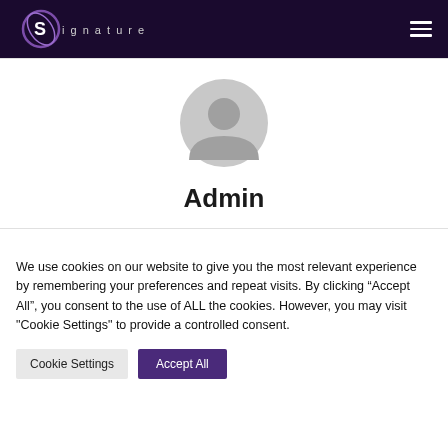Signature [logo] | hamburger menu
[Figure (logo): Signature brand logo with stylized 'S' and orbit graphic in purple, white text reading 'Signature']
[Figure (illustration): Generic user/admin avatar icon — grey circular silhouette with head and shoulders]
Admin
We use cookies on our website to give you the most relevant experience by remembering your preferences and repeat visits. By clicking “Accept All”, you consent to the use of ALL the cookies. However, you may visit "Cookie Settings" to provide a controlled consent.
Cookie Settings | Accept All